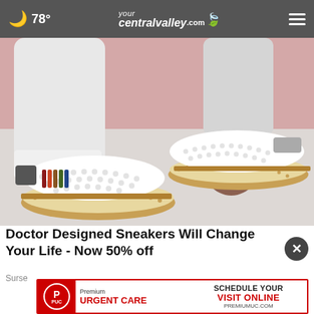🌙 78° yourcentralvalley.com ☰
[Figure (photo): Close-up photo of a person's feet wearing white slip-on sneakers with decorative dot perforations, brown rubber sole with stitch detail, and colorful stripe accent. Person wearing white jeans. Pink background.]
Doctor Designed Sneakers Will Change Your Life - Now 50% off
Surse
[Figure (infographic): Premium Urgent Care banner advertisement. Red border. PUC logo circle on left in red. Text: Premium URGENT CARE | SCHEDULE YOUR VISIT ONLINE | PREMIUMUC.COM]